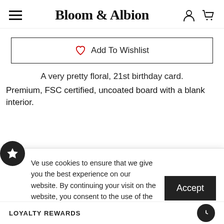Bloom & Albion
Add To Wishlist
A very pretty floral, 21st birthday card.
Premium, FSC certified, uncoated board with a blank interior.
We use cookies to ensure that we give you the best experience on our website. By continuing your visit on the website, you consent to the use of the cookies. Learn more
Eli the Goat takes inspiration for new designs from nature, flora and fauna, travelling [obscured]. Each greeting card begins life as [obscured] is then digitally embellished, [obscured] printed in the UK.
LOYALTY REWARDS